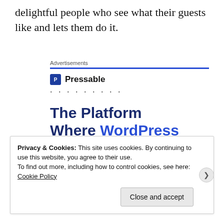delightful people who see what their guests like and lets them do it.
Advertisements
[Figure (logo): Pressable logo with blue square icon containing letter P and dotted separator line, followed by ad headline: The Platform Where WordPress Works Best]
Privacy & Cookies: This site uses cookies. By continuing to use this website, you agree to their use.
To find out more, including how to control cookies, see here: Cookie Policy